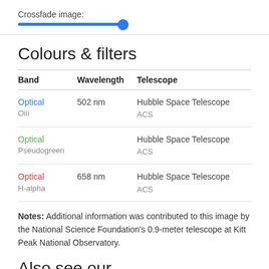Crossfade image:
[Figure (other): A horizontal slider control with blue track and blue circular thumb positioned toward the right end.]
Colours & filters
| Band | Wavelength | Telescope |
| --- | --- | --- |
| Optical
Oiii | 502 nm | Hubble Space Telescope
ACS |
| Optical
Pseudogreen |  | Hubble Space Telescope
ACS |
| Optical
H-alpha | 658 nm | Hubble Space Telescope
ACS |
Notes: Additional information was contributed to this image by the National Science Foundation's 0.9-meter telescope at Kitt Peak National Observatory.
Also see our